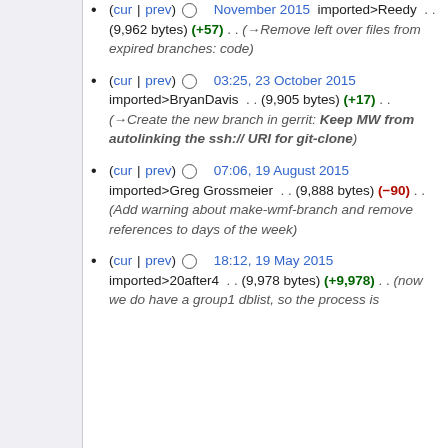(cur | prev)  November 2015  imported>Reedy . . (9,962 bytes) (+57) . . (→Remove left over files from expired branches: code)
(cur | prev)  03:25, 23 October 2015  imported>BryanDavis . . (9,905 bytes) (+17) . . (→Create the new branch in gerrit: Keep MW from autolinking the ssh:// URI for git-clone)
(cur | prev)  07:06, 19 August 2015  imported>Greg Grossmeier . . (9,888 bytes) (−90) . . (Add warning about make-wmf-branch and remove references to days of the week)
(cur | prev)  18:12, 19 May 2015  imported>20after4 . . (9,978 bytes) (+9,978) . . (now we do have a group1 dblist, so the process is